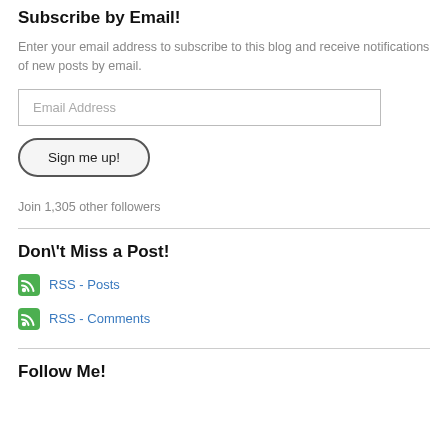Subscribe by Email!
Enter your email address to subscribe to this blog and receive notifications of new posts by email.
Email Address
Sign me up!
Join 1,305 other followers
Don\'t Miss a Post!
RSS - Posts
RSS - Comments
Follow Me!